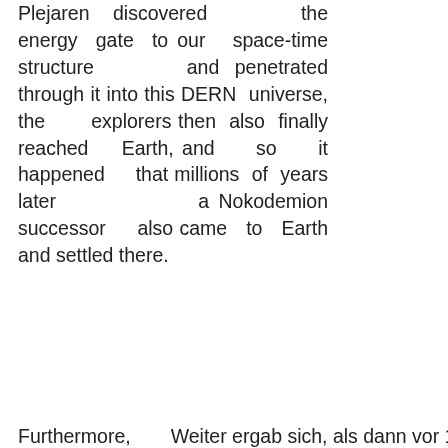Plejaren discovered the energy gate to our space-time structure and penetrated through it into this DERN universe, the explorers then also finally reached Earth, and so it happened that millions of years later a Nokodemion successor also came to Earth and settled there. Furthermore,    Weiter ergab sich, als dann vor 12 Mill